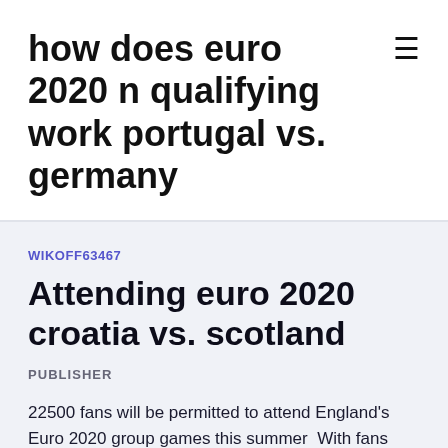how does euro 2020 n qualifying work portugal vs. germany
WIKOFF63467
Attending euro 2020 croatia vs. scotland
PUBLISHER
22500 fans will be permitted to attend England's Euro 2020 group games this summer  With fans attending the